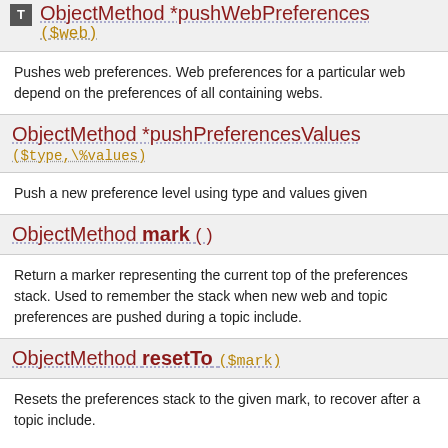ObjectMethod *pushWebPreferences ($web)
Pushes web preferences. Web preferences for a particular web depend on the preferences of all containing webs.
ObjectMethod *pushPreferencesValues ($type,\%values)
Push a new preference level using type and values given
ObjectMethod mark ()
Return a marker representing the current top of the preferences stack. Used to remember the stack when new web and topic preferences are pushed during a topic include.
ObjectMethod resetTo ($mark)
Resets the preferences stack to the given mark, to recover after a topic include.